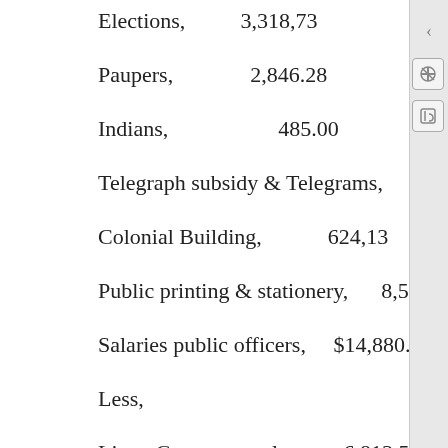Elections,    3,318,73
Paupers,    2,846.28
Indians,    485.00
Telegraph subsidy & Telegrams,    2,750.65
Colonial Building,    624,13
Public printing & stationery,    8,548.79
Salaries public officers,    $14,880.82
Less,
Lieut. Governors salary,    6,813.50
Private Sec'y salary,  325.00